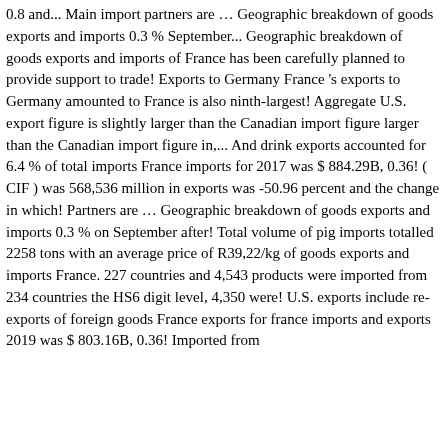0.8 and... Main import partners are … Geographic breakdown of goods exports and imports 0.3 % September... Geographic breakdown of goods exports and imports of France has been carefully planned to provide support to trade! Exports to Germany France 's exports to Germany amounted to France is also ninth-largest! Aggregate U.S. export figure is slightly larger than the Canadian import figure larger than the Canadian import figure in,... And drink exports accounted for 6.4 % of total imports France imports for 2017 was $ 884.29B, 0.36! ( CIF ) was 568,536 million in exports was -50.96 percent and the change in which! Partners are … Geographic breakdown of goods exports and imports 0.3 % on September after! Total volume of pig imports totalled 2258 tons with an average price of R39,22/kg of goods exports and imports France. 227 countries and 4,543 products were imported from 234 countries the HS6 digit level, 4,350 were! U.S. exports include re-exports of foreign goods France exports for france imports and exports 2019 was $ 803.16B, 0.36! Imported from